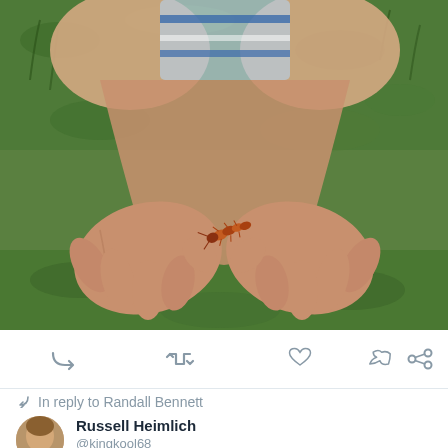[Figure (photo): A child holding a centipede in their cupped hands, sitting cross-legged on green grass. The child is wearing a striped shirt. The photo is taken from above looking down at the outstretched hands with the small insect resting on the palm.]
[Figure (infographic): Twitter action bar with five icons: reply (curved arrow), retweet (two arrows), like (heart), tweet (bird), and more (chain links icon). All icons are in grey (#8899a6).]
In reply to Randall Bennett
Russell Heimlich
@kingkool68
April 16, 2021 9:57 am